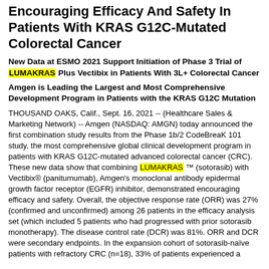Encouraging Efficacy And Safety In Patients With KRAS G12C-Mutated Colorectal Cancer
New Data at ESMO 2021 Support Initiation of Phase 3 Trial of LUMAKRAS Plus Vectibix in Patients With 3L+ Colorectal Cancer
Amgen is Leading the Largest and Most Comprehensive Development Program in Patients with the KRAS G12C Mutation
THOUSAND OAKS, Calif., Sept. 16, 2021 -- (Healthcare Sales & Marketing Network) -- Amgen (NASDAQ: AMGN) today announced the first combination study results from the Phase 1b/2 CodeBreaK 101 study, the most comprehensive global clinical development program in patients with KRAS G12C-mutated advanced colorectal cancer (CRC). These new data show that combining LUMAKRAS ™ (sotorasib) with Vectibix® (panitumumab), Amgen's monoclonal antibody epidermal growth factor receptor (EGFR) inhibitor, demonstrated encouraging efficacy and safety. Overall, the objective response rate (ORR) was 27% (confirmed and unconfirmed) among 26 patients in the efficacy analysis set (which included 5 patients who had progressed with prior sotorasib monotherapy). The disease control rate (DCR) was 81%. ORR and DCR were secondary endpoints. In the expansion cohort of sotorasib-naïve patients with refractory CRC (n=18), 33% of patients experienced a